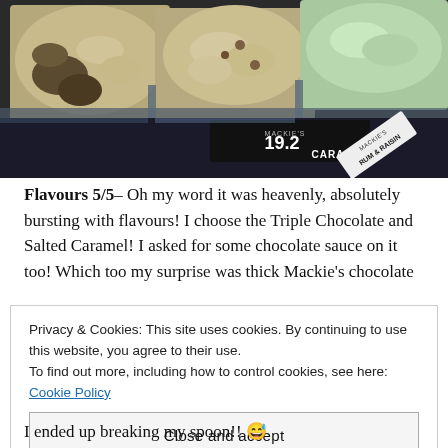[Figure (photo): Ice cream display case showing multiple flavors in metal trays behind glass. Labels visible include 'Mackie's 19.2 Salted Caramel' and 'Rum & Raisin'.]
Flavours 5/5– Oh my word it was heavenly, absolutely bursting with flavours! I choose the Triple Chocolate and Salted Caramel! I asked for some chocolate sauce on it too! Which too my surprise was thick Mackie's chocolate
Privacy & Cookies: This site uses cookies. By continuing to use this website, you agree to their use.
To find out more, including how to control cookies, see here: Cookie Policy
Close and accept
I ended up breaking my spoon!! 😅